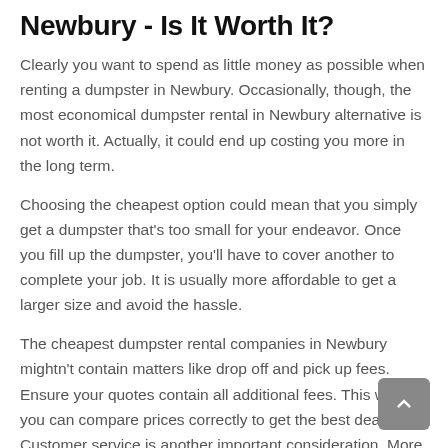Newbury - Is It Worth It?
Clearly you want to spend as little money as possible when renting a dumpster in Newbury. Occasionally, though, the most economical dumpster rental in Newbury alternative is not worth it. Actually, it could end up costing you more in the long term.
Choosing the cheapest option could mean that you simply get a dumpster that's too small for your endeavor. Once you fill up the dumpster, you'll have to cover another to complete your job. It is usually more affordable to get a larger size and avoid the hassle.
The cheapest dumpster rental companies in Newbury mightn't contain matters like drop off and pick up fees. Ensure your quotes contain all additional fees. This way you can compare prices correctly to get the best deal. Customer service is another important consideration. More than a few companies keep prices low by cutting corners on service. The final thing you would like would be to waste time waiting for a truck to arrive with your